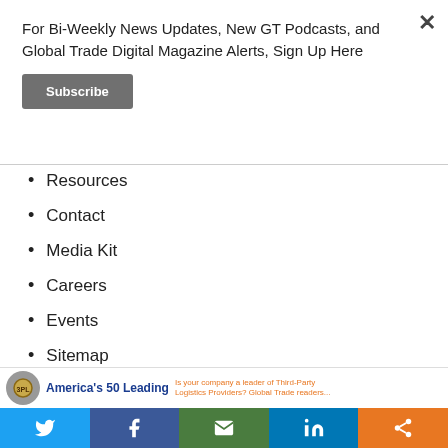For Bi-Weekly News Updates, New GT Podcasts, and Global Trade Digital Magazine Alerts, Sign Up Here
Subscribe
Resources
Contact
Media Kit
Careers
Events
Sitemap
CATEGORIES
3PLs
[Figure (infographic): America's 50 Leading banner ad with circular logo and orange promotional text]
[Figure (infographic): Social sharing bar with Twitter, Facebook, Email, LinkedIn, and Share buttons]